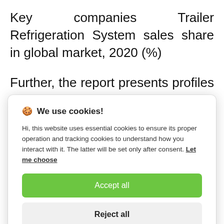Key companies Trailer Refrigeration System sales share in global market, 2020 (%)
Further, the report presents profiles of competitors in the market, key players
🍪 We use cookies!

Hi, this website uses essential cookies to ensure its proper operation and tracking cookies to understand how you interact with it. The latter will be set only after consent. Let me choose

[Accept all] [Reject all]
Lumikko